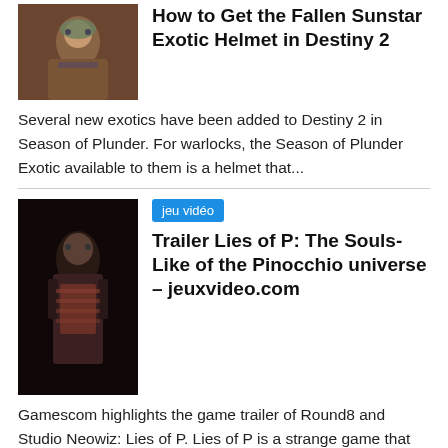[Figure (photo): Game character in fantasy/exotic armor from Destiny 2]
How to Get the Fallen Sunstar Exotic Helmet in Destiny 2
Several new exotics have been added to Destiny 2 in Season of Plunder. For warlocks, the Season of Plunder Exotic available to them is a helmet that...
jeu vidéo
[Figure (photo): Dark-clad character resembling a Pinocchio-universe figure from Lies of P]
Trailer Lies of P: The Souls-Like of the Pinocchio universe – jeuxvideo.com
Gamescom highlights the game trailer of Round8 and Studio Neowiz: Lies of P. Lies of P is a strange game that has been talked about a lot,...